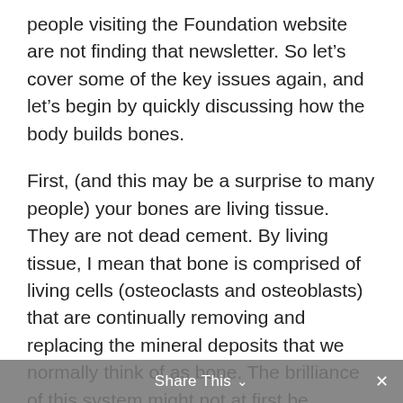people visiting the Foundation website are not finding that newsletter. So let’s cover some of the key issues again, and let’s begin by quickly discussing how the body builds bones.
First, (and this may be a surprise to many people) your bones are living tissue. They are not dead cement. By living tissue, I mean that bone is comprised of living cells (osteoclasts and osteoblasts) that are continually removing and replacing the mineral deposits that we normally think of as bone. The brilliance of this system might not at first be obvious. After all, what possible advantage could there be to getting rid of good bones.
Share This